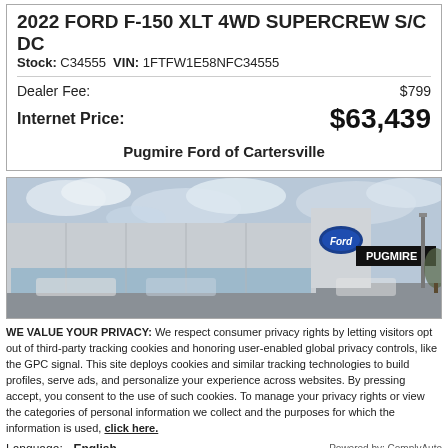2022 FORD F-150 XLT 4WD SUPERCREW S/C DC
Stock: C34555 VIN: 1FTFW1E58NFC34555
| Dealer Fee: | $799 |
| Internet Price: | $63,439 |
Pugmire Ford of Cartersville
[Figure (photo): Exterior photo of Pugmire Ford of Cartersville dealership building with Ford oval logo sign and PUGMIRE signage, cloudy sky background]
WE VALUE YOUR PRIVACY: We respect consumer privacy rights by letting visitors opt out of third-party tracking cookies and honoring user-enabled global privacy controls, like the GPC signal. This site deploys cookies and similar tracking technologies to build profiles, serve ads, and personalize your experience across websites. By pressing accept, you consent to the use of such cookies. To manage your privacy rights or view the categories of personal information we collect and the purposes for which the information is used, click here.
Language: English
Powered by: ComplyAuto
Accept and Continue → | Privacy Policy | Live Chat